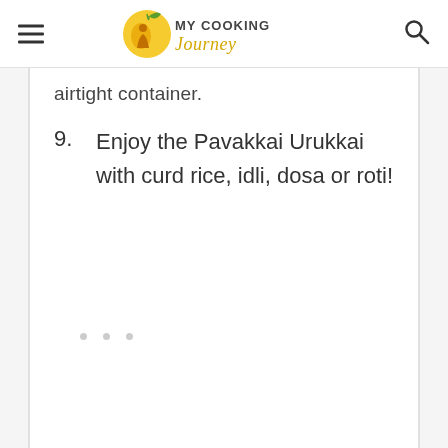My Cooking Journey
airtight container.
9. Enjoy the Pavakkai Urukkai with curd rice, idli, dosa or roti!